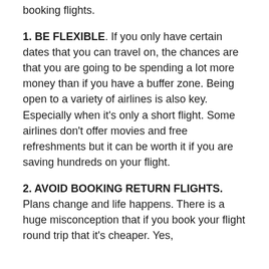booking flights.
1. BE FLEXIBLE. If you only have certain dates that you can travel on, the chances are that you are going to be spending a lot more money than if you have a buffer zone. Being open to a variety of airlines is also key. Especially when it's only a short flight. Some airlines don't offer movies and free refreshments but it can be worth it if you are saving hundreds on your flight.
2. AVOID BOOKING RETURN FLIGHTS. Plans change and life happens. There is a huge misconception that if you book your flight round trip that it's cheaper. Yes,